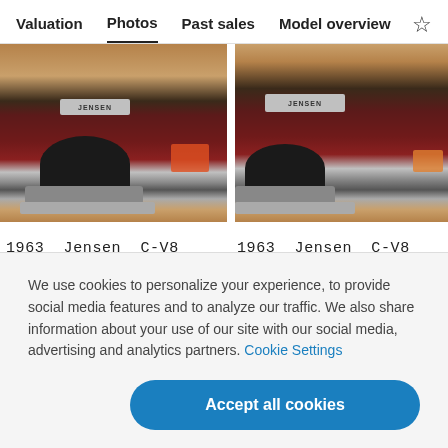Valuation  Photos  Past sales  Model overview
[Figure (photo): Photo of a red 1963 Jensen C-V8 classic car front/bumper area, showing wheel and Jensen badge, outdoor setting]
[Figure (photo): Photo of a red 1963 Jensen C-V8 classic car front grille and Jensen badge, outdoor setting, partially cropped]
1963  Jensen  C-V8
1963  Jensen  C-V8
We use cookies to personalize your experience, to provide social media features and to analyze our traffic. We also share information about your use of our site with our social media, advertising and analytics partners. Cookie Settings
Accept all cookies